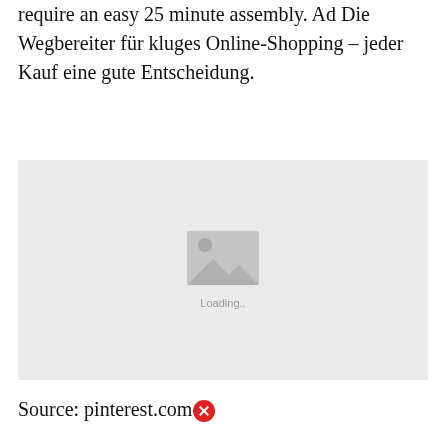require an easy 25 minute assembly. Ad Die Wegbereiter für kluges Online-Shopping - jeder Kauf eine gute Entscheidung.
[Figure (photo): Image placeholder with mountain/landscape icon and 'Loading..' text, indicating an image that failed to load]
Source: pinterest.com